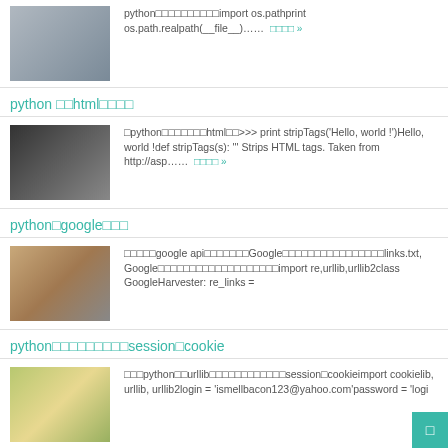python□□□□□□□□□□import os.pathprint os.path.realpath(__file__)…… □□□□ »
python □□html□□□□
□python□□□□□□□html□□>>> print stripTags('Hello, world !')Hello, world !def stripTags(s): ''' Strips HTML tags. Taken from http://asp…… □□□□ »
python□google□□□
□□□□□google api□□□□□□□Google□□□□□□□□□□□□□□□□links.txt, Google□□□□□□□□□□□□□□□□□□□import re,urllib,urllib2class GoogleHarvester: re_links =
python□□□□□□□□□session□cookie
□□□python□□urllib□□□□□□□□□□□□session□cookieimport cookielib, urllib, urllib2login = 'ismellbacon123@yahoo.com'password = 'logi